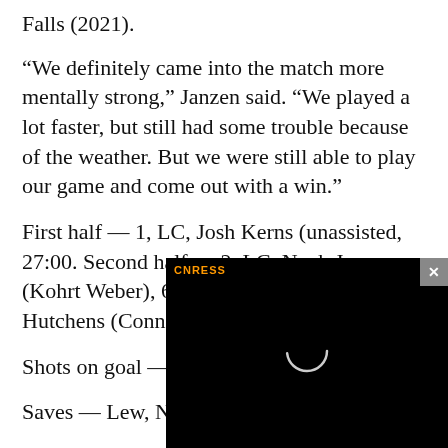Falls (2021).
“We definitely came into the match more mentally strong,” Janzen said. “We played a lot faster, but still had some trouble because of the weather. But we were still able to play our game and come out with a win.”
First half — 1, LC, Josh Kerns (unassisted, 27:00. Second half — 2, LC, Noah Janzen (Kohrt Weber), 60:00. 3, LC, Malachi Hutchens (Connor
Shots on goal — Le
Saves — Lew, Noa
[Figure (screenshot): Black video player overlay with loading spinner circle, CNRESS logo in orange/yellow, and a gray X close button in top-right corner.]